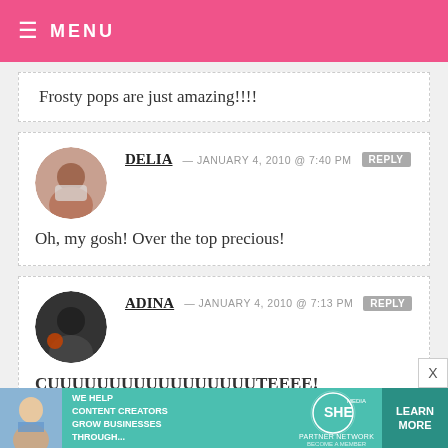≡ MENU
Frosty pops are just amazing!!!!
DELIA — JANUARY 4, 2010 @ 7:40 PM  REPLY
Oh, my gosh! Over the top precious!
ADINA — JANUARY 4, 2010 @ 7:13 PM  REPLY
CUUUUUUUUUUUUUUUUUTEEEE!

I would love to do this project with my
[Figure (infographic): SHE Partner Network ad banner: 'We help content creators grow businesses through...' with a Learn More button]
X